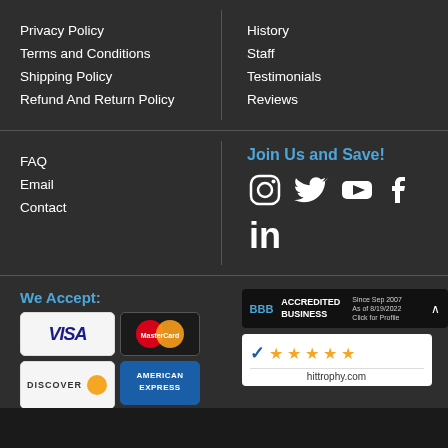Privacy Policy
Terms and Conditions
Shipping Policy
Refund And Return Policy
History
Staff
Testimonials
Reviews
FAQ
Email
Contact
Join Us and Save!
[Figure (infographic): Social media icons: Instagram, Twitter, YouTube, Facebook, LinkedIn]
We Accept:
[Figure (infographic): Payment card logos: Visa, MasterCard, Discover, American Express]
[Figure (infographic): BBB Accredited Business badge - Since Sep 2007, As of 8/19/2022, Click for Profile]
[Figure (infographic): 5-star rating badge for hittrophy.com]